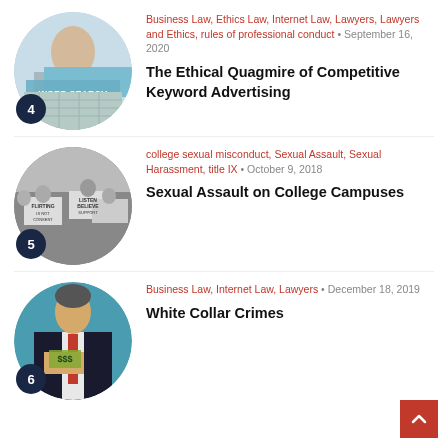[Figure (photo): Circular thumbnail image showing a person searching keywords on a screen, item number 4]
Business Law, Ethics Law, Internet Law, Lawyers, Lawyers and Ethics, rules of professional conduct • September 16, 2020
The Ethical Quagmire of Competitive Keyword Advertising
[Figure (photo): Circular thumbnail image showing protesters holding signs about sexual assault, item number 5]
college sexual misconduct, Sexual Assault, Sexual Harassment, title IX • October 9, 2018
Sexual Assault on College Campuses
[Figure (photo): Circular thumbnail image showing a man in a suit hiding money in his jacket, item number 6]
Business Law, Internet Law, Lawyers • December 18, 2019
White Collar Crimes